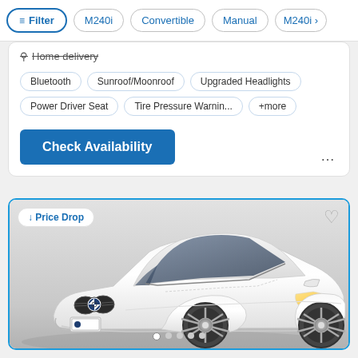Filter | M240i | Convertible | Manual | M240i >
Home delivery
Bluetooth
Sunroof/Moonroof
Upgraded Headlights
Power Driver Seat
Tire Pressure Warnin...
+more
Check Availability
Price Drop
[Figure (photo): White BMW 2 Series coupe (M240i) photographed from a front three-quarter angle on a grey studio background]